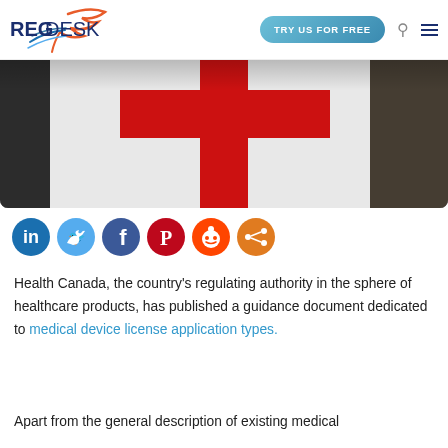REGDESK | TRY US FOR FREE
[Figure (photo): Photograph showing a red cross symbol on a white or grey background, partially shadowed on the sides. Appears to be a medical/regulatory context image.]
[Figure (infographic): Row of six social media sharing icons: LinkedIn (blue), Twitter (light blue), Facebook (dark blue), Pinterest (red), Reddit (orange-red), Share (orange).]
Health Canada, the country’s regulating authority in the sphere of healthcare products, has published a guidance document dedicated to medical device license application types.
Apart from the general description of existing medical